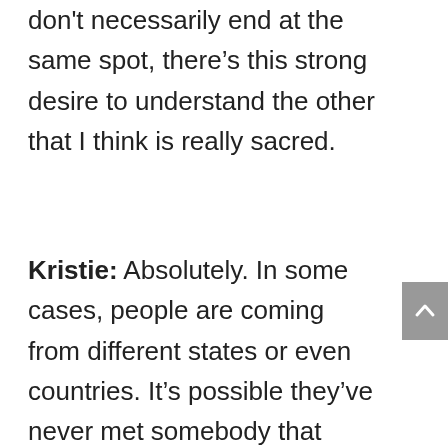don't necessarily end at the same spot, there's this strong desire to understand the other that I think is really sacred.
Kristie: Absolutely. In some cases, people are coming from different states or even countries. It's possible they've never met somebody that looks or thinks like somebody else on